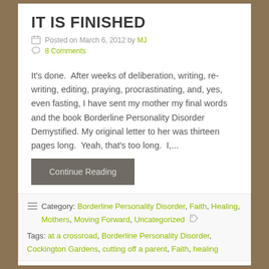IT IS FINISHED
Posted on March 6, 2012 by MJ
8 Comments
It's done.  After weeks of deliberation, writing, re-writing, editing, praying, procrastinating, and, yes, even fasting, I have sent my mother my final words and the book Borderline Personality Disorder Demystified. My original letter to her was thirteen pages long.  Yeah, that's too long.  I,...
Continue Reading
Category: Borderline Personality Disorder, Faith, Healing, Mothers, Moving Forward, Uncategorized
Tags: at a crossroad, Borderline Personality Disorder, Cockington Gardens, cutting off a parent, Faith, healing